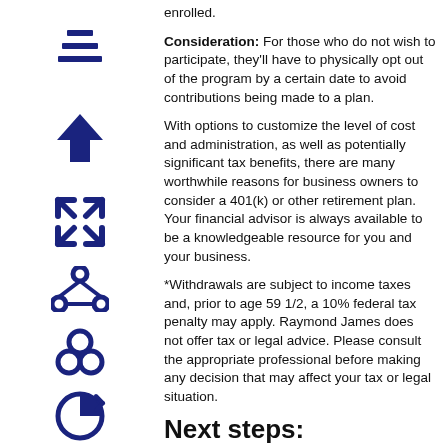enrolled.
[Figure (illustration): Blue hamburger menu lines icon (three horizontal bars of increasing width)]
Consideration: For those who do not wish to participate, they'll have to physically opt out of the program by a certain date to avoid contributions being made to a plan.
[Figure (illustration): Blue upward arrow icon]
With options to customize the level of cost and administration, as well as potentially significant tax benefits, there are many worthwhile reasons for business owners to consider a 401(k) or other retirement plan. Your financial advisor is always available to be a knowledgeable resource for you and your business.
[Figure (illustration): Blue expand/fullscreen arrows icon]
[Figure (illustration): Blue network/nodes icon]
[Figure (illustration): Blue interlocking rings (Redux-style) icon]
*Withdrawals are subject to income taxes and, prior to age 59 1/2, a 10% federal tax penalty may apply. Raymond James does not offer tax or legal advice. Please consult the appropriate professional before making any decision that may affect your tax or legal situation.
[Figure (illustration): Blue pie chart with arrow icon]
[Figure (illustration): Blue triangle/warning icon]
Next steps:
Determine what your priorities are in a retirement